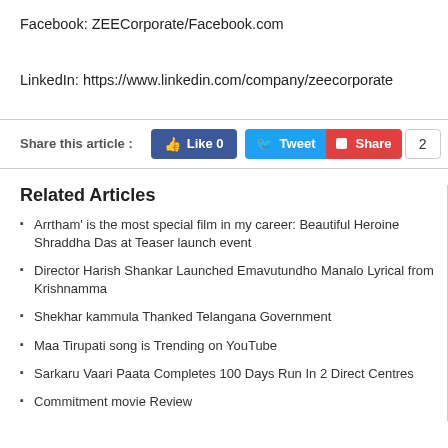Facebook: ZEECorporate/Facebook.com
LinkedIn: https://www.linkedin.com/company/zeecorporate
Share this article :
Related Articles
Arrtham' is the most special film in my career: Beautiful Heroine Shraddha Das at Teaser launch event
Director Harish Shankar Launched Emavutundho Manalo Lyrical from Krishnamma
Shekhar kammula Thanked Telangana Government
Maa Tirupati song is Trending on YouTube
Sarkaru Vaari Paata Completes 100 Days Run In 2 Direct Centres
Commitment movie Review